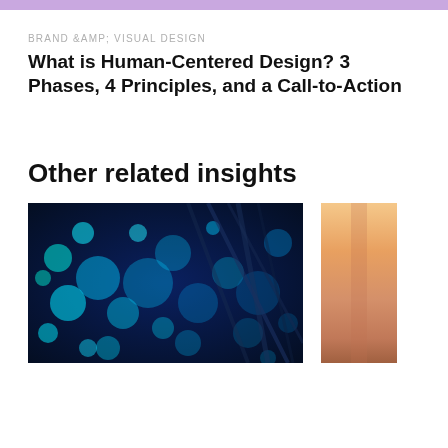BRAND &AMP; VISUAL DESIGN
What is Human-Centered Design? 3 Phases, 4 Principles, and a Call-to-Action
Other related insights
[Figure (photo): Bokeh photo of glowing cyan and blue fiber optic lights against a dark blue background]
[Figure (photo): Partial view of a sunset photo with warm orange and peach gradient tones]